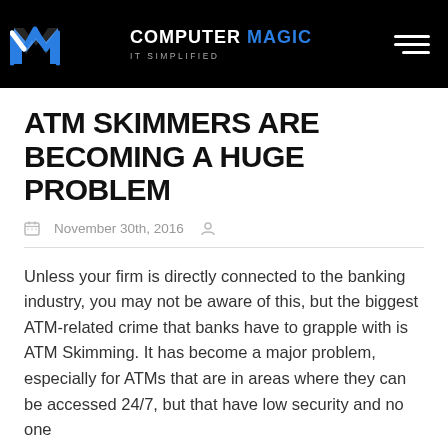COMPUTER MAGIC — IT SIMPLIFIED
ATM SKIMMERS ARE BECOMING A HUGE PROBLEM
November 30th, 2016
Unless your firm is directly connected to the banking industry, you may not be aware of this, but the biggest ATM-related crime that banks have to grapple with is ATM Skimming. It has become a major problem, especially for ATMs that are in areas where they can be accessed 24/7, but that have low security and no one